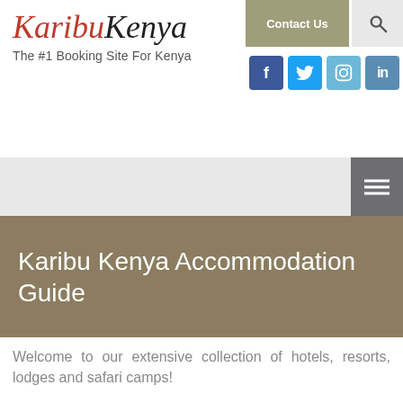Karibu Kenya — The #1 Booking Site For Kenya
Karibu Kenya Accommodation Guide
Welcome to our extensive collection of hotels, resorts, lodges and safari camps!
To help you choose, we have a state-of-the-art 'refine your search' option. Simply click on as many of the options on the left of the page as you